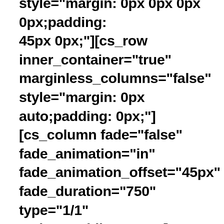style="margin: 0px 0px 0px 0px;padding: 45px 0px;"][cs_row inner_container="true" marginless_columns="false" style="margin: 0px auto;padding: 0px;"][cs_column fade="false" fade_animation="in" fade_animation_offset="45px" fade_duration="750" type="1/1" style="padding: 0px;"][cs_text class="cs-ta-left"]Repair technology for trenchless sewage has changed how professional plumbing is operated. From clearing clogs to repairing/replacing sewage lines, trenchless services can provide many benefits compared to